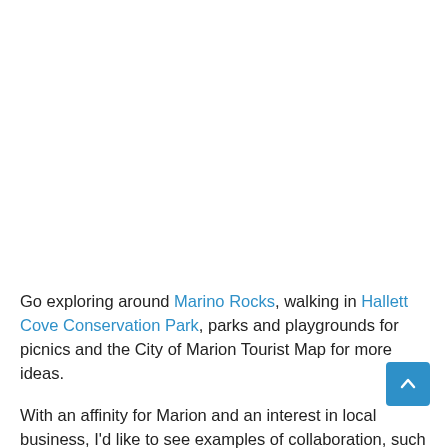Go exploring around Marino Rocks, walking in Hallett Cove Conservation Park, parks and playgrounds for picnics and the City of Marion Tourist Map for more ideas.
With an affinity for Marion and an interest in local business, I'd like to see examples of collaboration, such as the use of